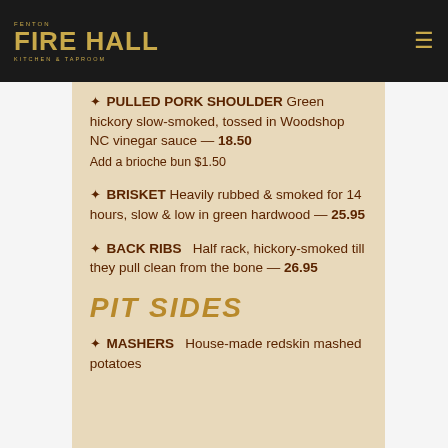Fenton Fire Hall - Kitchen & Taproom logo and navigation
🍂 PULLED PORK SHOULDER Green hickory slow-smoked, tossed in Woodshop NC vinegar sauce — 18.50 Add a brioche bun $1.50
🍂 BRISKET Heavily rubbed & smoked for 14 hours, slow & low in green hardwood — 25.95
🍂 BACK RIBS Half rack, hickory-smoked till they pull clean from the bone — 26.95
PIT SIDES
🍂 MASHERS House-made redskin mashed potatoes